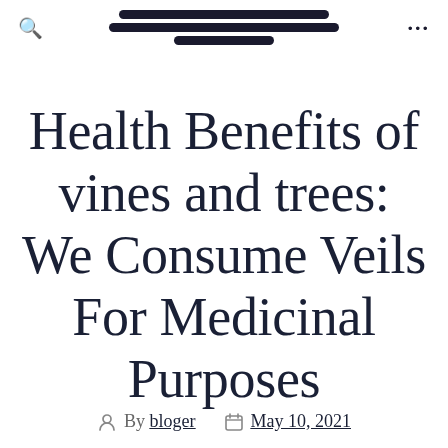[navigation bar with search icon, site name/breadcrumb text blocks, and options menu]
Health Benefits of vines and trees: We Consume Veils For Medicinal Purposes
By bloger  May 10, 2021